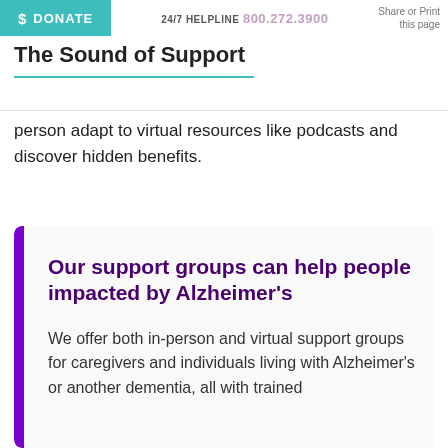$ DONATE   24/7 HELPLINE   [phone number]   Share or Print this page
The Sound of Support
person adapt to virtual resources like podcasts and discover hidden benefits.
Our support groups can help people impacted by Alzheimer's
We offer both in-person and virtual support groups for caregivers and individuals living with Alzheimer's or another dementia, all with trained